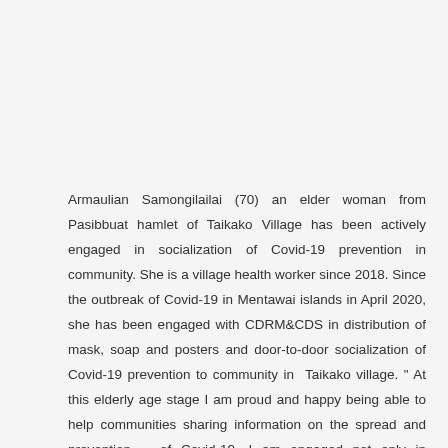Armaulian Samongilailai (70) an elder woman from Pasibbuat hamlet of Taikako Village has been actively engaged in socialization of Covid-19 prevention in community. She is a village health worker since 2018. Since the outbreak of Covid-19 in Mentawai islands in April 2020, she has been engaged with CDRM&CDS in distribution of mask, soap and posters and door-to-door socialization of Covid-19 prevention to community in Taikako village. " At this elderly age stage I am proud and happy being able to help communities sharing information on the spread and prevention of Covid-19. I am engaged not only in Integrated Services Post as Village Health worker and CDRM&CDS program, but also in Church service in my village. I am called to do door-to-door socialization when I see the community's indifference towards